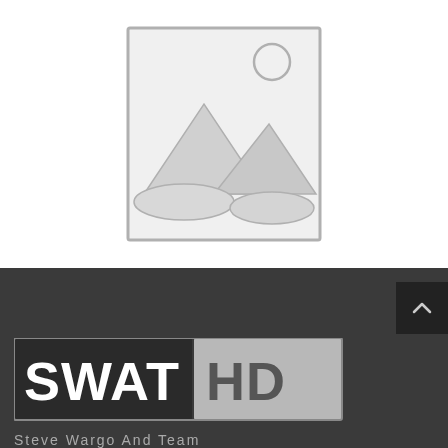[Figure (illustration): Placeholder image icon showing mountain landscape with sun, grey border, on white background]
[Figure (logo): SWAT HD logo — 'SWAT' in bold white text on dark square background, 'HD' in grey text on light grey background, tagline 'Steve Wargo And Team' below in monospaced style]